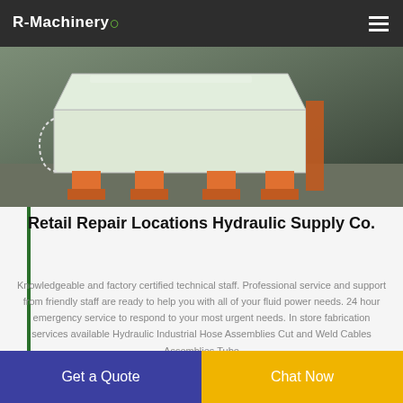R-Machinery
[Figure (photo): Industrial machinery (white/grey body with orange legs) in a warehouse/factory setting]
Retail Repair Locations Hydraulic Supply Co.
Knowledgeable and factory certified technical staff. Professional service and support from friendly staff are ready to help you with all of your fluid power needs. 24 hour emergency service to respond to your most urgent needs. In store fabrication services available Hydraulic Industrial Hose Assemblies Cut and Weld Cable Assemblies Tube
Get a Quote
Chat Now